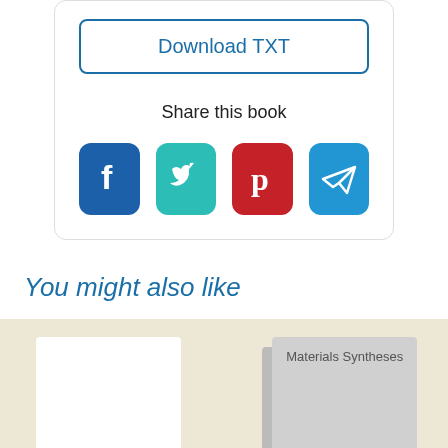Download TXT
Share this book
[Figure (infographic): Social share icons: Facebook, Twitter, Pinterest, Telegram]
You might also like
[Figure (illustration): Two book thumbnails in a beige section. Left: white blank book cover. Right: gray book cover with title 'Materials Syntheses'.]